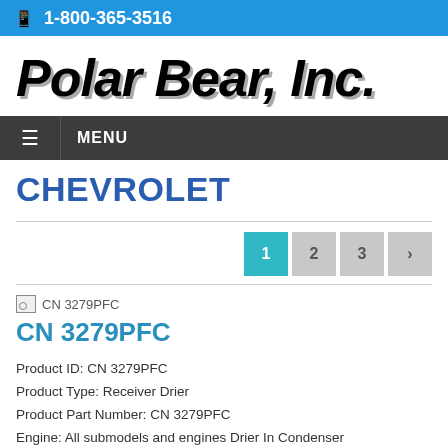📱 1-800-365-3516
Polar Bear, Inc.
≡ MENU
CHEVROLET
Pagination: 1 2 3 >
[Figure (other): Small broken image icon placeholder for CN 3279PFC product image]
CN 3279PFC
Product ID: CN 3279PFC
Product Type: Receiver Drier
Product Part Number: CN 3279PFC
Engine: All submodels and engines Drier In Condenser
General Description: PBI Replacement for Condenser Parallel Flow